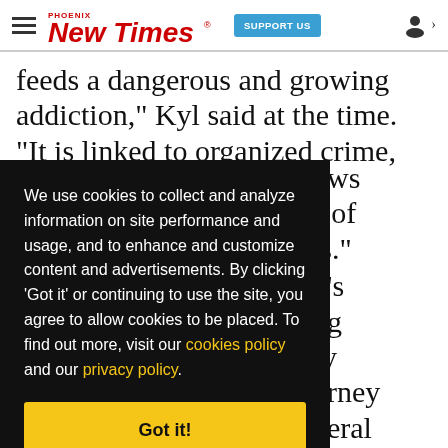Phoenix New Times — SUPPORT US
feeds a dangerous and growing addiction," Kyl said at the time. "It is linked to organized crime,
We use cookies to collect and analyze information on site performance and usage, and to enhance and customize content and advertisements. By clicking 'Got it' or continuing to use the site, you agree to allow cookies to be placed. To find out more, visit our cookies policy and our privacy policy.
Got it!